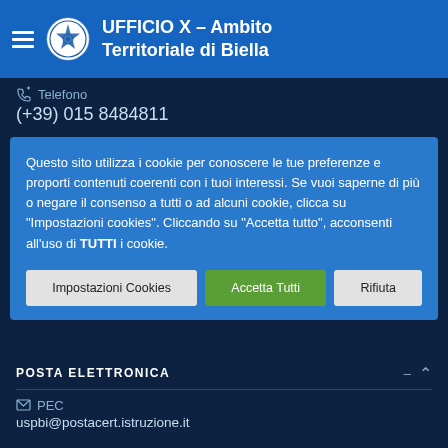UFFICIO X – Ambito Territoriale di Biella
Telefono
(+39) 015 8484811
Questo sito utilizza i cookie per conoscere le tue preferenze e proporti contenuti coerenti con i tuoi interessi. Se vuoi saperne di più o negare il consenso a tutti o ad alcuni cookie, clicca su "Impostazioni cookies". Cliccando su "Accetta tutto", acconsenti all'uso di TUTTI i cookie.
Impostazioni Cookies | Accetta Tutti | Rifiuta
POSTA ELETTRONICA
PEC
uspbi@postacert.istruzione.it